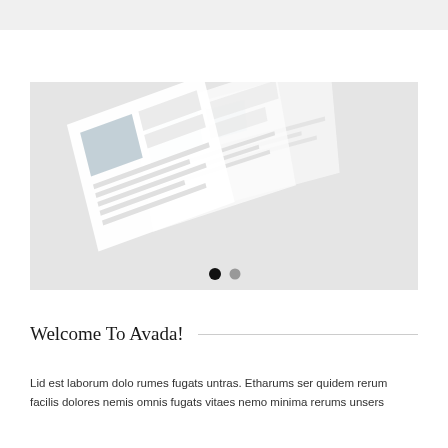[Figure (screenshot): Isometric view of floating website/app mockup screens on a light grey background, with two pagination dots (one filled black, one grey) at the bottom center.]
Welcome To Avada!
Lid est laborum dolo rumes fugats untras. Etharums ser quidem rerum facilis dolores nemis omnis fugats vitaes nemo minima rerums unsers